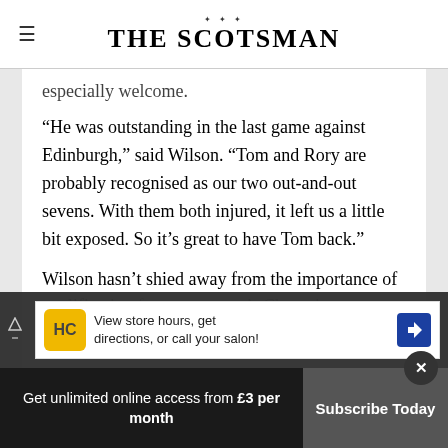THE SCOTSMAN
especially welcome.
“He was outstanding in the last game against Edinburgh,” said Wilson. “Tom and Rory are probably recognised as our two out-and-out sevens. With them both injured, it left us a little bit exposed. So it’s great to have Tom back.”
Wilson hasn’t shied away from the importance of qualification for next season’s Champions
[Figure (screenshot): Advertisement banner: HC logo with text 'View store hours, get directions, or call your salon!' and a blue navigation arrow icon]
Get unlimited online access from £3 per month
Subscribe Today